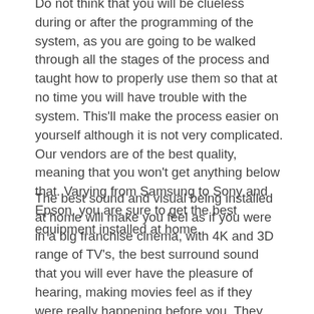Do not think that you will be clueless during or after the programming of the system, as you are going to be walked through all the stages of the process and taught how to properly use them so that at no time you will have trouble with the system. This'll make the process easier on yourself although it is not very complicated. Our vendors are of the best quality, meaning that you won't get anything below that. Varying from Samsung to Sony and Epson, you are sure to get the best equipment installed at home.
The best sound and visual being installed at home will make you feel as if you were in a big franchise cinema, with 4K and 3D range of TV's, the best surround sound that you will ever have the pleasure of hearing, making movies feel as if they were really happening before you. They not only focus on the visual-audio side of things, everyone knows that to feel like you are in the